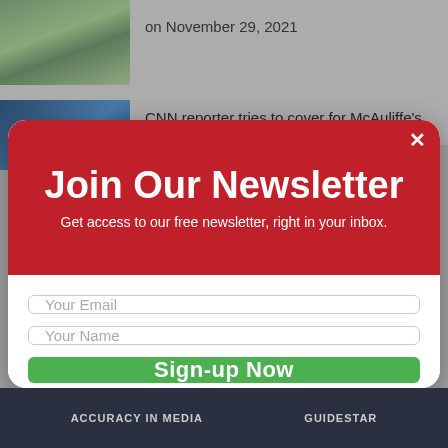on November 29, 2021
CNN reporter tries to cover for McAuliffe's
Join Our Newsletter
Get access to our free newsletter, right in your inbox.
Your Email
Your Name
Sign-up Now
Sorry, I don't have an email address
ACCURACY IN MEDIA    GUIDESTAR